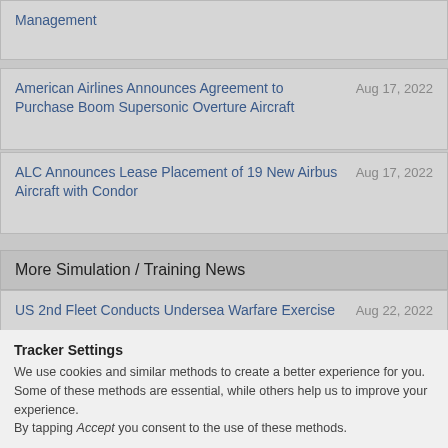Management
American Airlines Announces Agreement to Purchase Boom Supersonic Overture Aircraft
ALC Announces Lease Placement of 19 New Airbus Aircraft with Condor
More Simulation / Training News
US 2nd Fleet Conducts Undersea Warfare Exercise
Kearsarge ARG-22nd MEU Completes
Tracker Settings
We use cookies and similar methods to create a better experience for you. Some of these methods are essential, while others help us to improve your experience.
By tapping Accept you consent to the use of these methods.